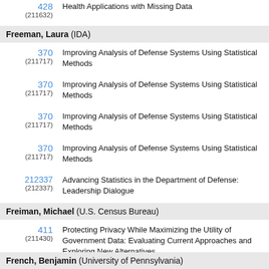428 (211632) Health Applications with Missing Data
Freeman, Laura (IDA)
370 (211717) Improving Analysis of Defense Systems Using Statistical Methods
370 (211717) Improving Analysis of Defense Systems Using Statistical Methods
370 (211717) Improving Analysis of Defense Systems Using Statistical Methods
370 (211717) Improving Analysis of Defense Systems Using Statistical Methods
212337 (212337) Advancing Statistics in the Department of Defense: Leadership Dialogue
Freiman, Michael (U.S. Census Bureau)
411 (211430) Protecting Privacy While Maximizing the Utility of Government Data: Evaluating Current Approaches and Exploring New Alternatives
French, Benjamin (University of Pennsylvania)